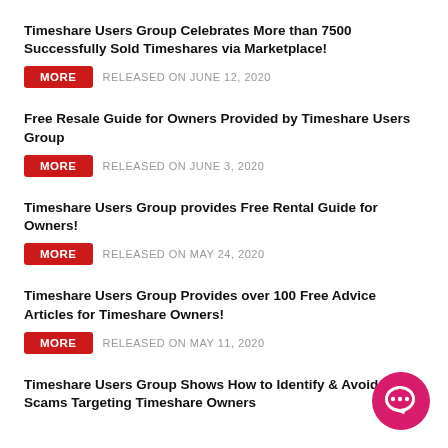Timeshare Users Group Celebrates More than 7500 Successfully Sold Timeshares via Marketplace! MORE RELEASED ON JUNE 12, 2020
Free Resale Guide for Owners Provided by Timeshare Users Group MORE RELEASED ON JUNE 3, 2020
Timeshare Users Group provides Free Rental Guide for Owners! MORE RELEASED ON MAY 24, 2020
Timeshare Users Group Provides over 100 Free Advice Articles for Timeshare Owners! MORE RELEASED ON MAY 11, 2020
Timeshare Users Group Shows How to Identify & Avoid Scams Targeting Timeshare Owners
[Figure (illustration): Pink/magenta circular chat bubble icon in bottom-right corner]